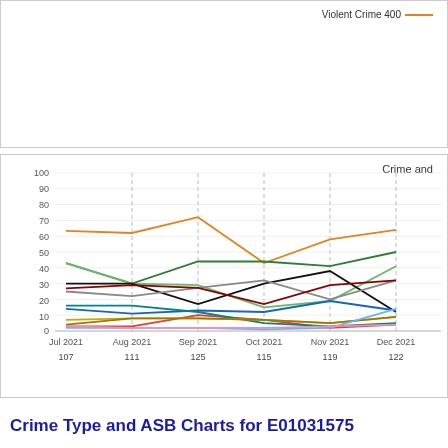[Figure (line-chart): Top panel showing partial legend entry for Violent Crime 400]
[Figure (line-chart): Crime and]
Crime Type and ASB Charts for E01031575